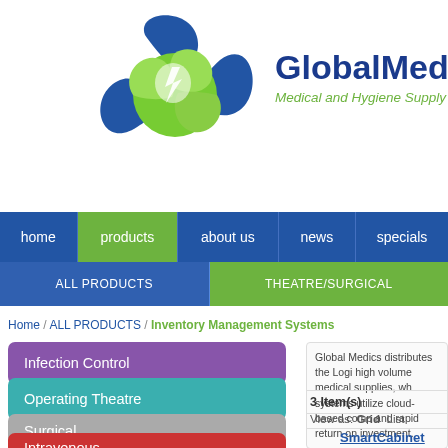[Figure (logo): GlobalMedics logo: blue and green swirl sphere with lightning bolt, company name 'GlobalMedics' in dark blue bold, tagline 'Medical and Hygiene Supply Group' in green italic]
home | products | about us | news | specials
ALL PRODUCTS | THEATRE/SURGICAL
Home / ALL PRODUCTS / Inventory Management Systems
Infection Control
Operating Theatre
Surgical
Intravenous
Global Medics distributes the Logi... high volume medical supplies, wh... systems utilize cloud-based comp... and rapid return on investment.
3 Item(s)
View as: Grid  List
SmartCabinet